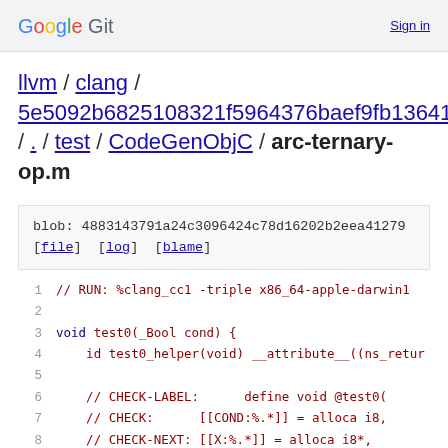Google Git  Sign in
llvm / clang / 5e5092b6825108321f5964376baef9fb136419db / . / test / CodeGenObjC / arc-ternary-op.m
blob: 4883143791a24c3096424c78d16202b2eea41279
[file] [log] [blame]
1  // RUN: %clang_cc1 -triple x86_64-apple-darwin10
2
3  void test0(_Bool cond) {
4    id test0_helper(void) __attribute__((ns_return
5
6    // CHECK-LABEL:       define void @test0(
7    // CHECK:       [[COND:%.* ]] = alloca i8,
8    // CHECK-NEXT: [[X:%.* ]] = alloca i8*,
9    // CHECK-NEXT: [[RELVAL:%.* ]] = alloca i8*
10   // CHECK-NEXT: [[RELCOND:%.* ]] = alloca i1